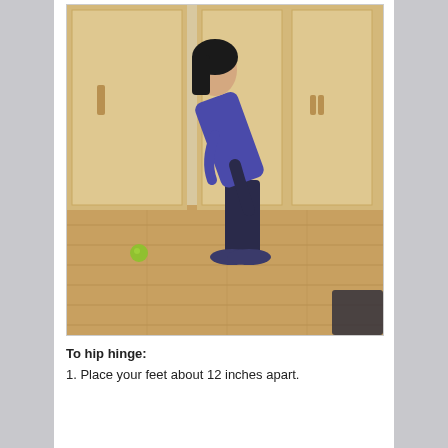[Figure (photo): A woman in a blue long-sleeve top and dark jeans is shown from the side, leaning forward in a hip hinge position. She is standing on a wooden floor in front of wooden cabinet doors. A small green ball is visible on the floor to her left.]
To hip hinge:
1. Place your feet about 12 inches apart.